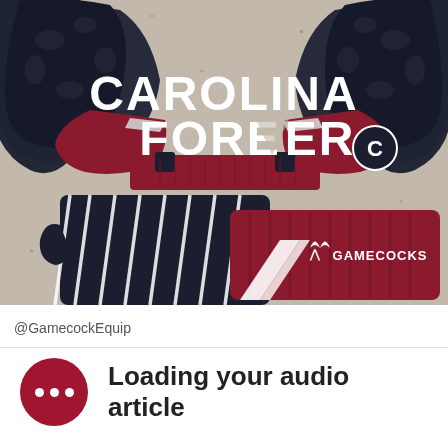[Figure (photo): Photo of South Carolina Gamecocks football gloves and arm pads laid on a granite countertop. The gloves at top display 'CAROLINA FOREVER' text with the USC Gamecocks logo. The bottom items show Under Armour branded gloves and arm pads in navy and garnet with 'GAMECOCKS' text and a white reflective chevron stripe.]
@GamecockEquip
Loading your audio article